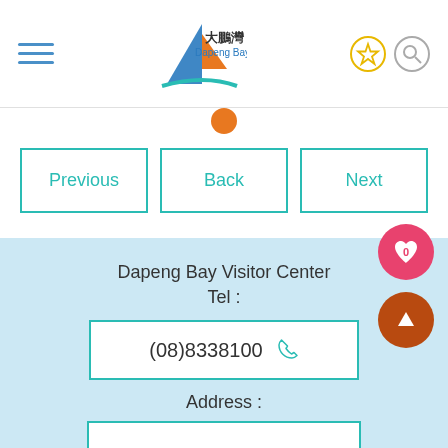[Figure (logo): Dapeng Bay logo with sailboat graphic and Chinese/English text 大鵬灣 Dapeng Bay]
Previous
Back
Next
Dapeng Bay Visitor Center
Tel :
(08)8338100
Address :